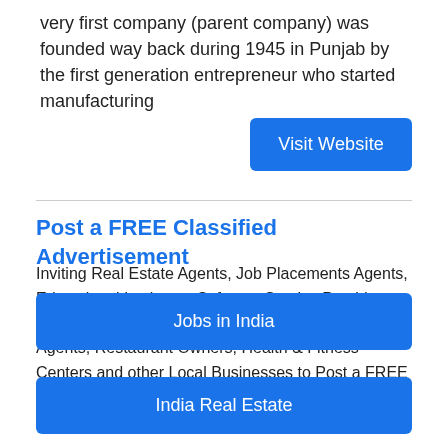very first company (parent company) was founded way back during 1945 in Punjab by the first generation entrepreneur who started manufacturing
[Figure (other): Blue 'Visit Website' button]
Post a FREE Classified Advertisement
Inviting Real Estate Agents, Job Placements Agents, Educational Institutes, Software Service Providers, Real Estate Builders, Marriage Bureaus, Travel Agents, Restaurant Owners, Health & Fitness Centers and other Local Businesses to Post a FREE Classified Advertisement on Cootera.com Classifieds Website.
[Figure (other): Blue 'Jobs in India' button]
[Figure (other): Blue 'India Real Estate' button]